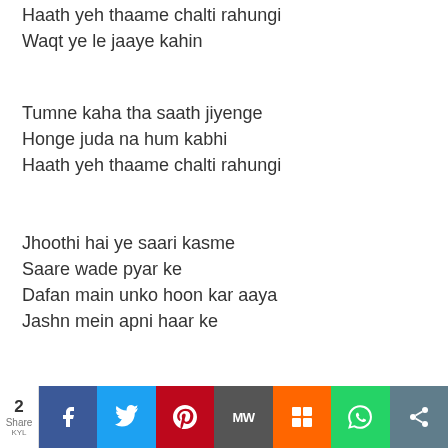Haath yeh thaame chalti rahungi
Waqt ye le jaaye kahin
Tumne kaha tha saath jiyenge
Honge juda na hum kabhi
Haath yeh thaame chalti rahungi
Jhoothi hai ye saari kasme
Saare wade pyar ke
Dafan main unko hoon kar aaya
Jashn mein apni haar ke
Hai phir kyun aankhon mein nami
2 Share KYL — social share bar: Facebook, Twitter, Pinterest, MW, Mix, WhatsApp, Share